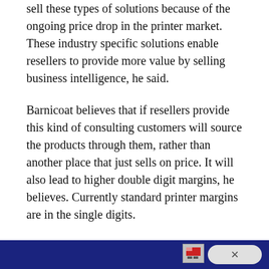channel partners still selling hardware should move to sell these types of solutions because of the ongoing price drop in the printer market. These industry specific solutions enable resellers to provide more value by selling business intelligence, he said.
Barnicoat believes that if resellers provide this kind of consulting customers will source the products through them, rather than another place that just sells on price. It will also lead to higher double digit margins, he believes. Currently standard printer margins are in the single digits.
A recent Lexmark survey found that, over the lifecycle of a printer, 76 per cent of your consumables spend is